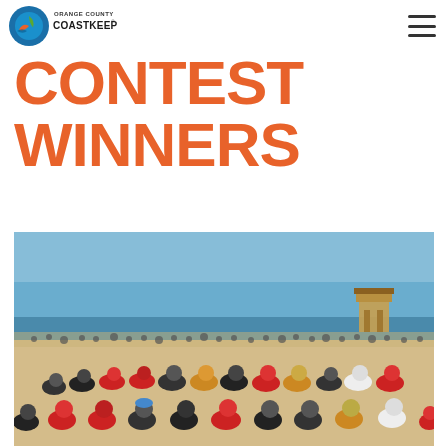Orange County Coastkeeper
CONTEST WINNERS
[Figure (photo): Large group of students and adults sitting in a circular arrangement on a sandy beach, with the ocean and a blue sky in the background. Some participants are wearing red shirts. A lifeguard tower is visible in the distance.]